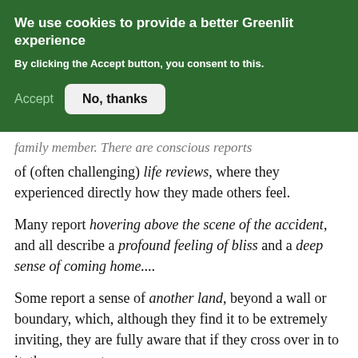We use cookies to provide a better Greenlit experience
By clicking the Accept button, you consent to this.
Accept   No, thanks
family member. There are conscious reports of (often challenging) life reviews, where they experienced directly how they made others feel.
Many report hovering above the scene of the accident, and all describe a profound feeling of bliss and a deep sense of coming home....
Some report a sense of another land, beyond a wall or boundary, which, although they find it to be extremely inviting, they are fully aware that if they cross over in to it, they may not come back to this life...